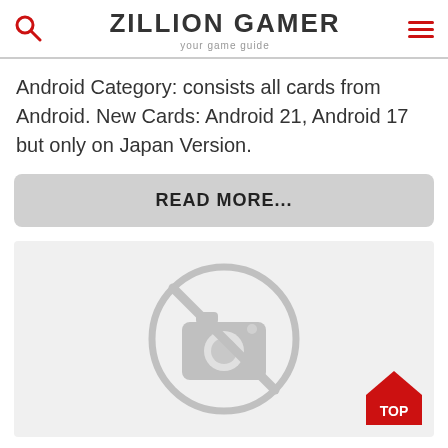ZILLION GAMER — your game guide
Android Category: consists all cards from Android. New Cards: Android 21, Android 17 but only on Japan Version.
READ MORE...
[Figure (illustration): Placeholder image with a no-camera icon (circle with diagonal line through a camera icon) on a light grey background]